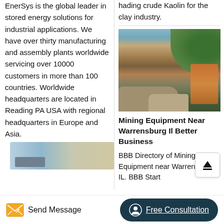EnerSys is the global leader in stored energy solutions for industrial applications. We have over thirty manufacturing and assembly plants worldwide servicing over 10000 customers in more than 100 countries. Worldwide headquarters are located in Reading PA USA with regional headquarters in Europe and Asia.
hading crude Kaolin for the clay industry.
[Figure (photo): Outdoor mining site with rocky terrain, machinery (orange equipment) on the right, and green trees on the hill in the background.]
Mining Equipment Near Warrensburg Il Better Business
BBB Directory of Mining Equipment near Warrensburg IL. BBB Start
[Figure (photo): Partial image strip at the bottom left showing an outdoor scene, possibly sky and machinery.]
Send Message   Free Consultation